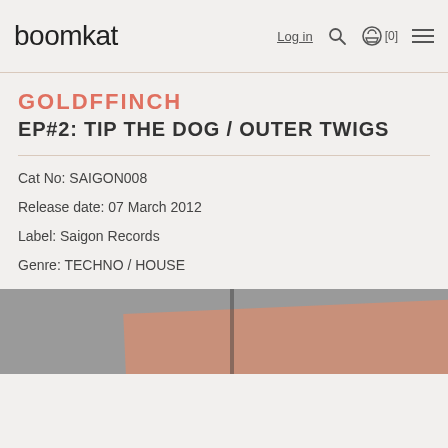boomkat  Log in  [0]
GOLDFFINCH
EP#2: TIP THE DOG / OUTER TWIGS
Cat No: SAIGON008
Release date: 07 March 2012
Label: Saigon Records
Genre: TECHNO / HOUSE
[Figure (photo): Partial album artwork showing a tan/brown wooden or cardboard surface on a grey background, cropped at the bottom of the page.]